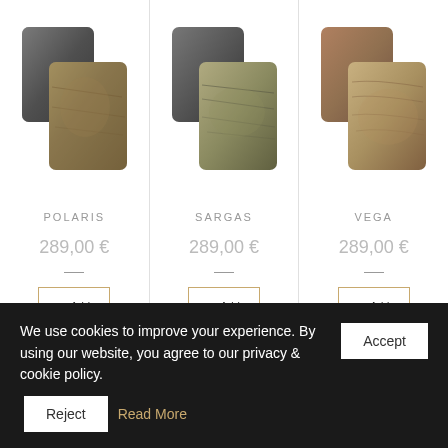[Figure (photo): Product photo of POLARIS — two rectangular metal/material sample cards, dark gunmetal and aged bronze stone finish]
POLARIS
289,00 €
Add to cart
[Figure (photo): Product photo of SARGAS — two rectangular metal/material sample cards, dark slate and khaki stone texture finish]
SARGAS
289,00 €
Add to cart
[Figure (photo): Product photo of VEGA — two rectangular metal/material sample cards, warm bronze and light wood burl finish]
VEGA
289,00 €
Add to cart
We use cookies to improve your experience. By using our website, you agree to our privacy & cookie policy.
Accept
Reject
Read More